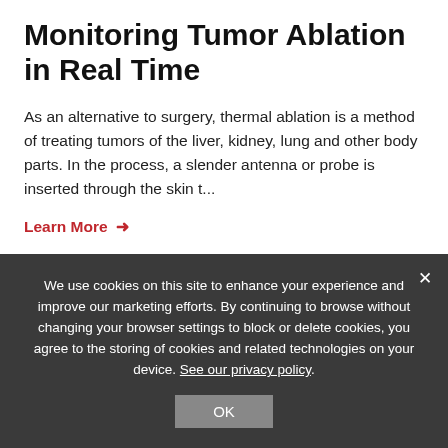Monitoring Tumor Ablation in Real Time
As an alternative to surgery, thermal ablation is a method of treating tumors of the liver, kidney, lung and other body parts. In the process, a slender antenna or probe is inserted through the skin t...
Learn More →
Christopher Brace, Peng Wang | P130294US01
Technology
Treatment Planning Algorithm for
We use cookies on this site to enhance your experience and improve our marketing efforts. By continuing to browse without changing your browser settings to block or delete cookies, you agree to the storing of cookies and related technologies on your device. See our privacy policy.
OK